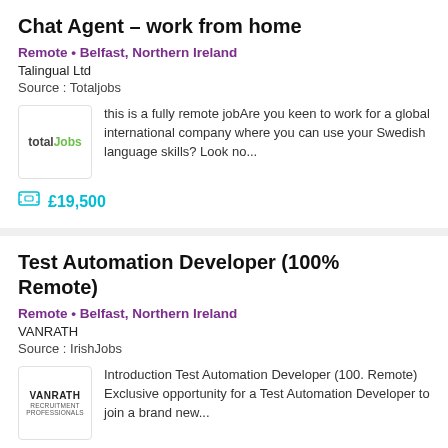Chat Agent - work from home
Remote • Belfast, Northern Ireland
Talingual Ltd
Source : Totaljobs
this is a fully remote jobAre you keen to work for a global international company where you can use your Swedish language skills? Look no...
£19,500
Test Automation Developer (100% Remote)
Remote • Belfast, Northern Ireland
VANRATH
Source : IrishJobs
Introduction Test Automation Developer (100. Remote) Exclusive opportunity for a Test Automation Developer to join a brand new...